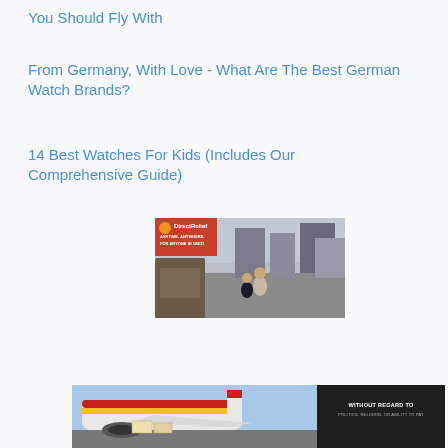You Should Fly With
From Germany, With Love - What Are The Best German Watch Brands?
14 Best Watches For Kids (Includes Our Comprehensive Guide)
[Figure (photo): DirectRelief charity advertisement showing two people walking through rubble/disaster area with text 'Anytime, Anywhere, For Anyone in Need']
[Figure (photo): Southwest Airlines cargo plane advertisement with text 'WITHOUT REGARD TO POLITICS, RELIGION, OR ABILITY TO PAY']